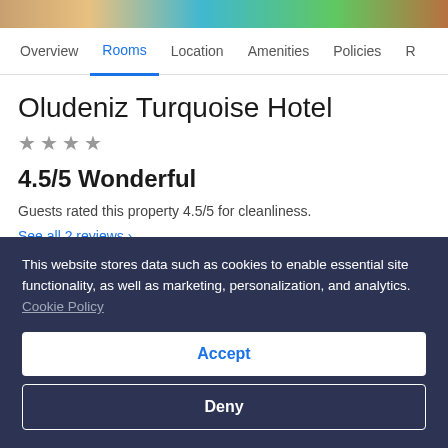[Figure (photo): Hotel photo strip at top of page showing beach/pool/outdoor scenes]
Overview  Rooms  Location  Amenities  Policies  R
Oludeniz Turquoise Hotel
★ ★ ★ ★
4.5/5 Wonderful
Guests rated this property 4.5/5 for cleanliness.
See all 2 reviews >
This website stores data such as cookies to enable essential site functionality, as well as marketing, personalization, and analytics. Cookie Policy
Accept
Deny